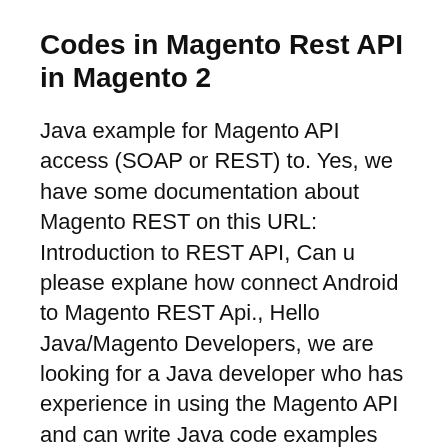Codes in Magento Rest API in Magento 2
Java example for Magento API access (SOAP or REST) to. Yes, we have some documentation about Magento REST on this URL: Introduction to REST API, Can u please explane how connect Android to Magento REST Api., Hello Java/Magento Developers, we are looking for a Java developer who has experience in using the Magento API and can write Java code examples for us on how to fetch.